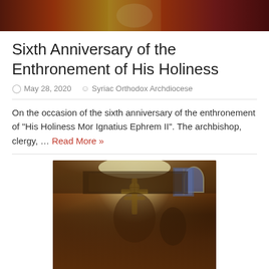[Figure (photo): Top cropped photo showing people in colorful religious vestments/robes at a ceremony]
Sixth Anniversary of the Enthronement of His Holiness
May 28, 2020   Syriac Orthodox Archdiocese
On the occasion of the sixth anniversary of the enthronement of "His Holiness Mor Ignatius Ephrem II". The archbishop, clergy, ... Read More »
[Figure (photo): Photo of religious ceremony with clergy in ornate vestments holding a large golden cross, congregation visible in the background balcony of a church]